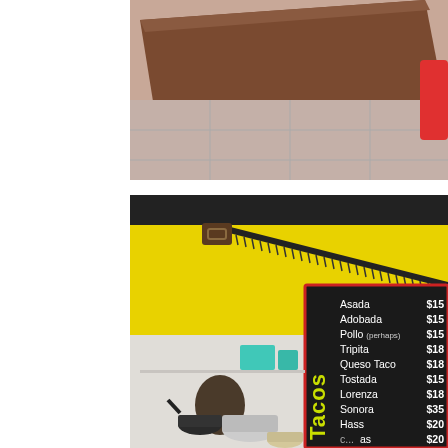[Figure (photo): Close-up photo of a brown cutting board on a tiled surface with what appears to be a red-handled tool partially visible at the right edge.]
[Figure (photo): Photo of a taco restaurant interior. A bright yellow wall has a hand saw mounted diagonally on it. A black chalkboard menu is visible on the right side with 'Tacos' written vertically in yellow/green and listing items: Asada $15, Adobada $15, Pollo (perhaps) $15, Tripita $18, Queso Taco $18, Tostada $15, Lorenza $18, Sonora $35, Hass $20, [item] $20, [item] $25. In the lower left, a kitchen area is visible with pots and a person working.]